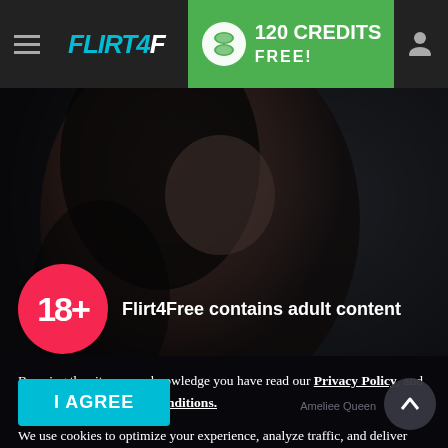FLIRT4FREE — 120 CREDITS FREE!
[Figure (photo): Hero background photo of a woman lying down, dark moody lighting]
[Figure (infographic): 18+ red circle badge]
Flirt4Free contains adult content
By using the site, you acknowledge you have read our Privacy Policy, and agree to our Terms and Conditions.
We use cookies to optimize your experience, analyze traffic, and deliver more personalized service. To learn more, please see our Privacy Policy.
I AGREE